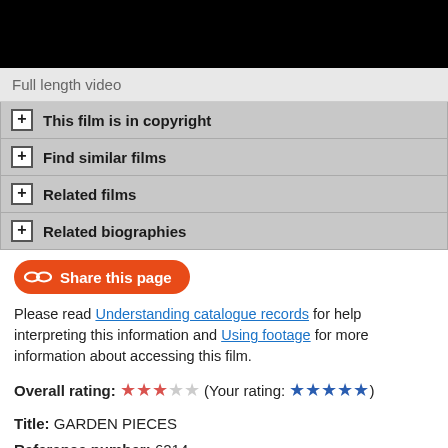[Figure (photo): Black video player area at top of page]
Full length video
+ This film is in copyright
+ Find similar films
+ Related films
+ Related biographies
[Figure (other): Share this page button (red rounded pill button with bone icon)]
Please read Understanding catalogue records for help interpreting this information and Using footage for more information about accessing this film.
Overall rating: ★★★☆☆ (Your rating: ★★★★★)
Title: GARDEN PIECES
Reference number: 6214
Date: 1998
Director: filmed by Margaret Tait